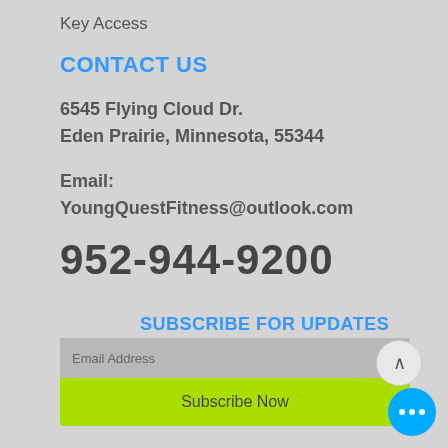Key Access
CONTACT US
6545 Flying Cloud Dr.
Eden Prairie, Minnesota, 55344
Email:
YoungQuestFitness@outlook.com
952-944-9200
SUBSCRIBE FOR UPDATES
Email Address
Subscribe Now